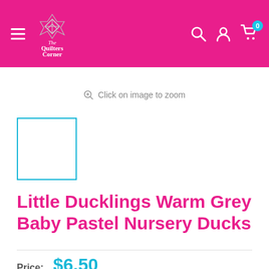[Figure (logo): The Quilters Corner logo with pink header background, hamburger menu, search icon, user icon, and cart icon with badge '0']
Click on image to zoom
[Figure (other): Product image thumbnail placeholder with teal/blue border, white interior]
Little Ducklings Warm Grey Baby Pastel Nursery Ducks
Price: $6.50